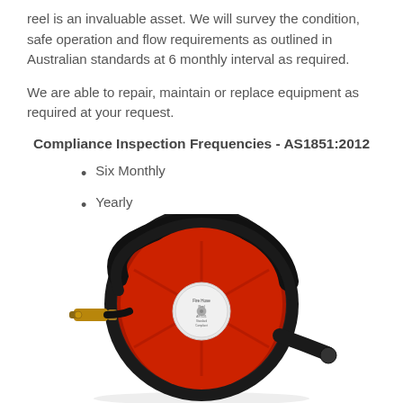reel is an invaluable asset. We will survey the condition, safe operation and flow requirements as outlined in Australian standards at 6 monthly interval as required.
We are able to repair, maintain or replace equipment as required at your request.
Compliance Inspection Frequencies - AS1851:2012
Six Monthly
Yearly
[Figure (photo): A red fire hose reel with black hose wound around it, featuring a brass nozzle/coupling on the left side and a central label plate with text. The reel is disc-shaped with spoke elements visible.]